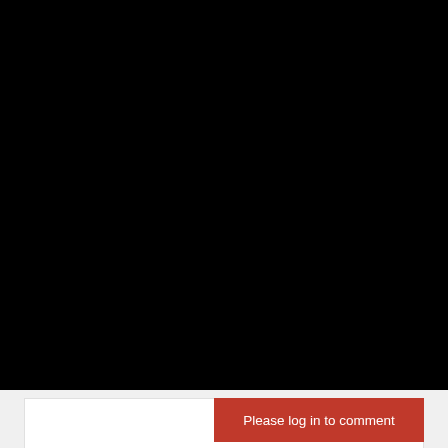Notice
We and selected third parties use cookies or similar technologies for technical purposes and, with your consent, for other purposes as specified in the cookie policy. Denying consent may make related features unavailable.
You can consent to the use of such technologies by using the "Accept" button, by closing this notice, by scrolling this page, by interacting with any link or button outside of this notice or by continuing to browse otherwise.
Accept
Learn more and customize
Please log in to comment
0  Comments